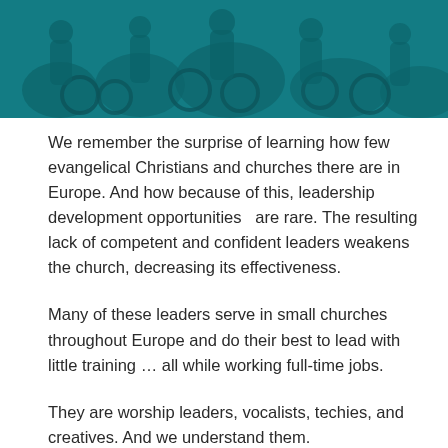[Figure (photo): Overhead/street-level teal-tinted photo of people with bicycles on a street or plaza]
We remember the surprise of learning how few evangelical Christians and churches there are in Europe. And how because of this, leadership development opportunities  are rare. The resulting lack of competent and confident leaders weakens the church, decreasing its effectiveness.
Many of these leaders serve in small churches throughout Europe and do their best to lead with little training … all while working full-time jobs.
They are worship leaders, vocalists, techies, and creatives. And we understand them.